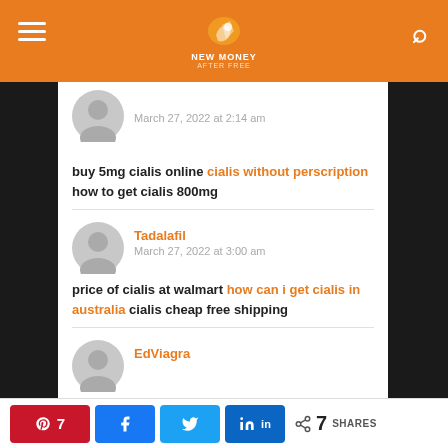New Money (site header with logo, hamburger menu, search icon)
March 27, 2022 at 2:14 am
buy 5mg cialis online cialis without perscription how to get cialis 800mg
Tadalafil
March 27, 2022 at 3:00 am
price of cialis at walmart how can i get cialis in australia cialis cheap free shipping
EdViagra
7 SHARES — Pinterest, Facebook, Twitter, LinkedIn share buttons